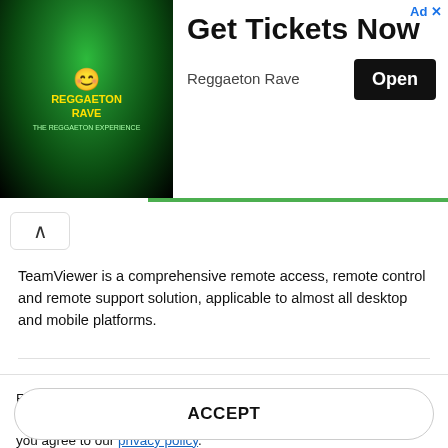[Figure (screenshot): Advertisement banner for Reggaeton Rave event with colorful event poster image on the left, 'Get Tickets Now' heading, and an 'Open' button]
Get Tickets Now
Reggaeton Rave
TeamViewer is a comprehensive remote access, remote control and remote support solution, applicable to almost all desktop and mobile platforms.
TeamViewer (32bit) 15.18.5
TeamViewer  - 28.37 MB Freeware
TeamViewer is a comprehensive remote access, remote control and remote support solution, applicable to almost all desktop and mobile platforms.
Filepuma uses cookies to improve content and ensure you get the best experience on our website. By continuing to use this website, you agree to our privacy policy.